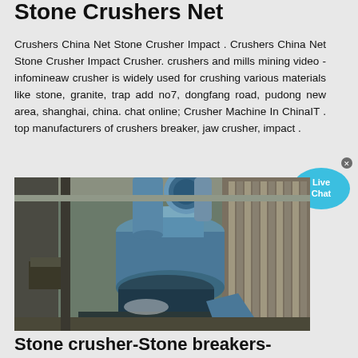Stone Crushers Net
Crushers China Net Stone Crusher Impact . Crushers China Net Stone Crusher Impact Crusher. crushers and mills mining video - infomineaw crusher is widely used for crushing various materials like stone, granite, trap add no7, dongfang road, pudong new area, shanghai, china. chat online; Crusher Machine In ChinaIT . top manufacturers of crushers breaker, jaw crusher, impact .
[Figure (photo): Industrial stone crusher machinery inside a factory building, showing large blue cylindrical grinding/crushing equipment with ducts and metal structural components.]
Stone crusher-Stone breakers-Quarry Stone crusher